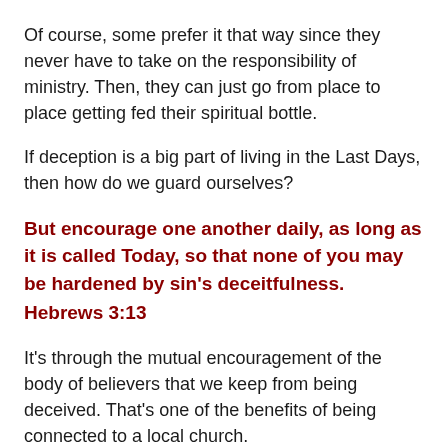Of course, some prefer it that way since they never have to take on the responsibility of ministry.  Then, they can just go from place to place getting fed their spiritual bottle.
If deception is a big part of living in the Last Days, then how do we guard ourselves?
But encourage one another daily, as long as it is called Today, so that none of you may be hardened by sin's deceitfulness.
Hebrews 3:13
It's through the mutual encouragement of the body of believers that we keep from being deceived.  That's one of the benefits of being connected to a local church.
But wait!  The writer of Hebrews also said…